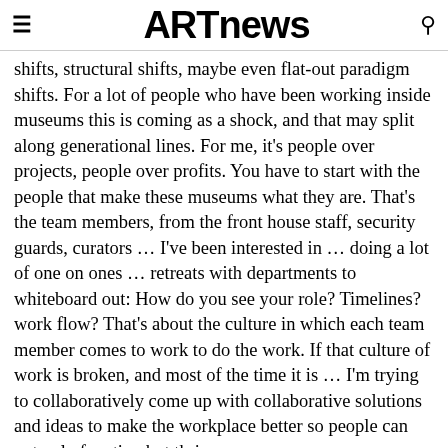≡  ARTnews  🔍
shifts, structural shifts, maybe even flat-out paradigm shifts. For a lot of people who have been working inside museums this is coming as a shock, and that may split along generational lines. For me, it's people over projects, people over profits. You have to start with the people that make these museums what they are. That's the team members, from the front house staff, security guards, curators … I've been interested in … doing a lot of one on ones … retreats with departments to whiteboard out: How do you see your role? Timelines? work flow? That's about the culture in which each team member comes to work to do the work. If that culture of work is broken, and most of the time it is … I'm trying to collaboratively come up with collaborative solutions and ideas to make the workplace better so people can not only function but thrive.
Brielmaier: There was no way I was going to step into a